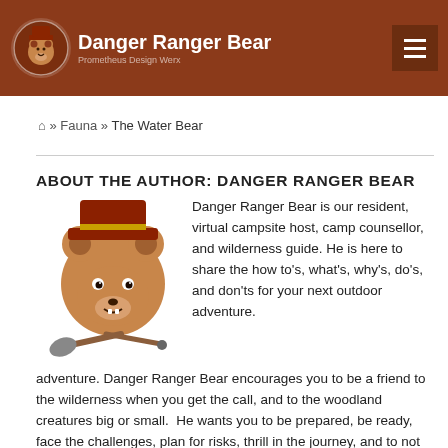Danger Ranger Bear | Prometheus Design Werx
🏠 » Fauna » The Water Bear
ABOUT THE AUTHOR: DANGER RANGER BEAR
[Figure (illustration): Danger Ranger Bear mascot — cartoon bear head with a ranger hat, crossed axe and walking stick below]
Danger Ranger Bear is our resident, virtual campsite host, camp counsellor, and wilderness guide. He is here to share the how to's, what's, why's, do's, and don'ts for your next outdoor adventure. Danger Ranger Bear encourages you to be a friend to the wilderness when you get the call, and to the woodland creatures big or small.  He wants you to be prepared, be ready, face the challenges, plan for risks, thrill in the journey, and to not die dumb. No adventure big or small was ever great, without a bit of danger. Danger Ranger Bear is here to help you get away from the mundane M-F daily grind, find your way to the outdoor life, and